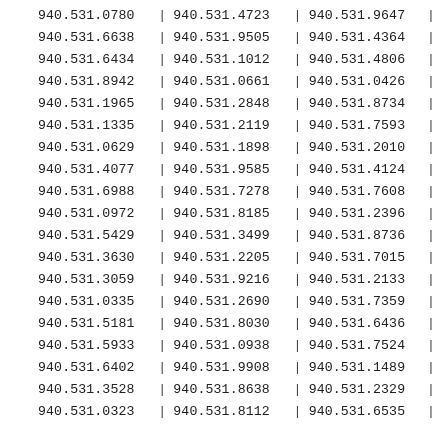| Col1 | Col2 | Col3 |
| --- | --- | --- |
| 940.531.0780 | 940.531.4723 | 940.531.9647 |
| 940.531.6638 | 940.531.9505 | 940.531.4364 |
| 940.531.6434 | 940.531.1012 | 940.531.4806 |
| 940.531.8942 | 940.531.0661 | 940.531.0426 |
| 940.531.1965 | 940.531.2848 | 940.531.8734 |
| 940.531.1335 | 940.531.2119 | 940.531.7593 |
| 940.531.0629 | 940.531.1898 | 940.531.2010 |
| 940.531.4077 | 940.531.9585 | 940.531.4124 |
| 940.531.6988 | 940.531.7278 | 940.531.7608 |
| 940.531.0972 | 940.531.8185 | 940.531.2396 |
| 940.531.5429 | 940.531.3499 | 940.531.8736 |
| 940.531.3630 | 940.531.2205 | 940.531.7015 |
| 940.531.3059 | 940.531.9216 | 940.531.2133 |
| 940.531.0335 | 940.531.2690 | 940.531.7359 |
| 940.531.5181 | 940.531.8030 | 940.531.6436 |
| 940.531.5933 | 940.531.0938 | 940.531.7524 |
| 940.531.6402 | 940.531.9908 | 940.531.1489 |
| 940.531.3528 | 940.531.8638 | 940.531.2329 |
| 940.531.0323 | 940.531.8112 | 940.531.6535 |